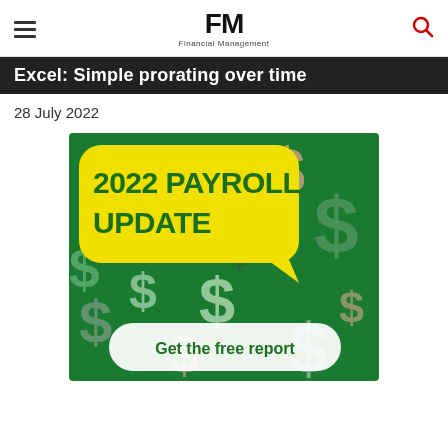FM Financial Management
Excel: Simple prorating over time
28 July 2022
[Figure (illustration): Promotional banner image for '2022 Payroll Update' with a yellow speech-bubble overlay reading '2022 PAYROLL UPDATE' in bold green text, and a white rounded rectangle at the bottom reading 'Get the free report' in green text. Background is a dark green collage pattern of dollar signs in various colors.]